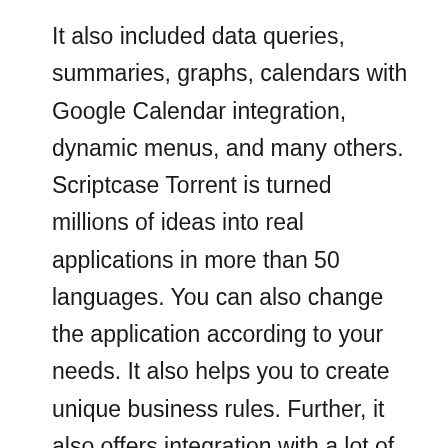It also included data queries, summaries, graphs, calendars with Google Calendar integration, dynamic menus, and many others. Scriptcase Torrent is turned millions of ideas into real applications in more than 50 languages. You can also change the application according to your needs. It also helps you to create unique business rules. Further, it also offers integration with a lot of APIs such as E-Mail, SMS, Whatsapp, Social Networks, Payment platforms, and more. RAD & Low-Code optimize the development process. You just need a browser. Now, you can access the application anywhere all over the world. A lot of developers can also work at the same time. Your applications can be even faster